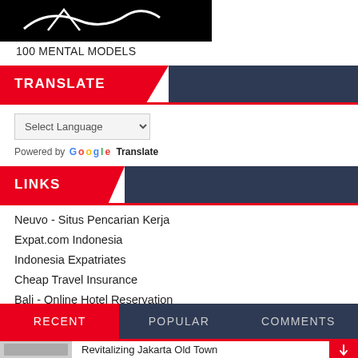[Figure (photo): Dark/black image thumbnail, partial view of what appears to be a figure or logo for '100 Mental Models']
100 MENTAL MODELS
TRANSLATE
Select Language (dropdown)
Powered by Google Translate
LINKS
Neuvo - Situs Pencarian Kerja
Expat.com Indonesia
Indonesia Expatriates
Cheap Travel Insurance
Bali - Online Hotel Reservation
Cheap Indonesian Flights
RECENT | POPULAR | COMMENTS
Revitalizing Jakarta Old Town